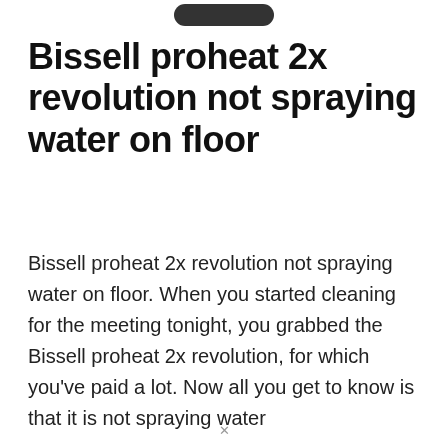[Figure (other): Partial image of a product or icon visible at the very top of the page, cropped]
Bissell proheat 2x revolution not spraying water on floor
Bissell proheat 2x revolution not spraying water on floor. When you started cleaning for the meeting tonight, you grabbed the Bissell proheat 2x revolution, for which you've paid a lot. Now all you get to know is that it is not spraying water